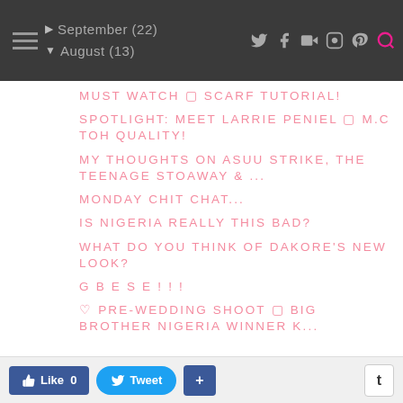September (22) | August (13) — navigation bar with social icons (Twitter, Facebook, YouTube, Instagram, Pinterest, Search)
MUST WATCH ✦ SCARF TUTORIAL!
SPOTLIGHT: MEET LARRIE PENIEL ✦ M.C TOH QUALITY!
MY THOUGHTS ON ASUU STRIKE, THE TEENAGE STOAWAY & ...
MONDAY CHIT CHAT...
IS NIGERIA REALLY THIS BAD?
WHAT DO YOU THINK OF DAKORE'S NEW LOOK?
G B E S E ! ! !
♡ PRE-WEDDING SHOOT ✦ Big Brother Nigeria Winner K...
Like 0   Tweet   +   t